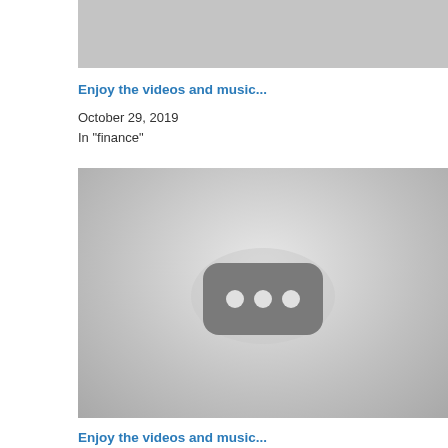[Figure (screenshot): Gray placeholder image at top of page, cropped video thumbnail]
Enjoy the videos and music...
October 29, 2019
In "finance"
[Figure (screenshot): Gray YouTube-style video placeholder with rounded rectangle icon and three dots]
Enjoy the videos and music...